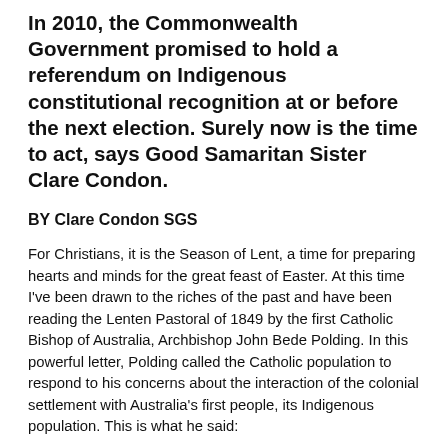In 2010, the Commonwealth Government promised to hold a referendum on Indigenous constitutional recognition at or before the next election. Surely now is the time to act, says Good Samaritan Sister Clare Condon.
BY Clare Condon SGS
For Christians, it is the Season of Lent, a time for preparing hearts and minds for the great feast of Easter. At this time I've been drawn to the riches of the past and have been reading the Lenten Pastoral of 1849 by the first Catholic Bishop of Australia, Archbishop John Bede Polding. In this powerful letter, Polding called the Catholic population to respond to his concerns about the interaction of the colonial settlement with Australia's first people, its Indigenous population. This is what he said:
"The wretched unfortunate Aborigines of the country – the first occupants of the lands over which your flocks and herds now roam – have a very strong claim upon you. Nor will the Lord hold